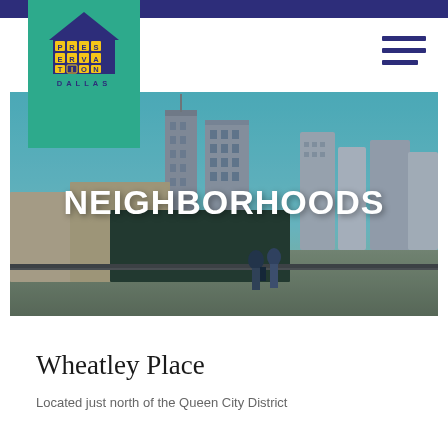[Figure (logo): Preservation Dallas logo — green background with purple house shape containing yellow letter blocks spelling PRESERVATION, and DALLAS text below]
[Figure (photo): Hero banner photo of Dallas city skyline with tall skyscrapers under a blue sky, with people walking in foreground on an elevated walkway. Text NEIGHBORHOODS overlaid in large white bold letters.]
Wheatley Place
Located just north of the Queen City District